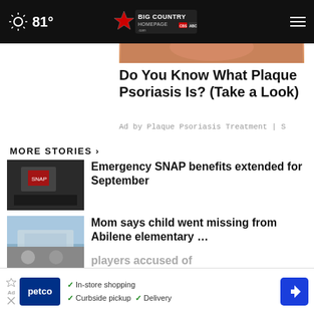81° | BIG COUNTRY HOMEPAGE.COM
[Figure (screenshot): Partial image of ad content at top]
Do You Know What Plaque Psoriasis Is? (Take a Look)
Ad by Plaque Psoriasis Treatment | S
MORE STORIES ›
[Figure (photo): Thumbnail image for Emergency SNAP benefits story]
Emergency SNAP benefits extended for September
[Figure (photo): Thumbnail image for missing child story]
Mom says child went missing from Abilene elementary …
[Figure (photo): Thumbnail image for Abilene ISD survey story]
SURVEY: Do you think Abilene ISD should condense …
[Figure (photo): Thumbnail for players accused story (partially visible)]
players accused of
[Figure (screenshot): Petco advertisement banner at bottom: In-store shopping, Curbside pickup, Delivery]